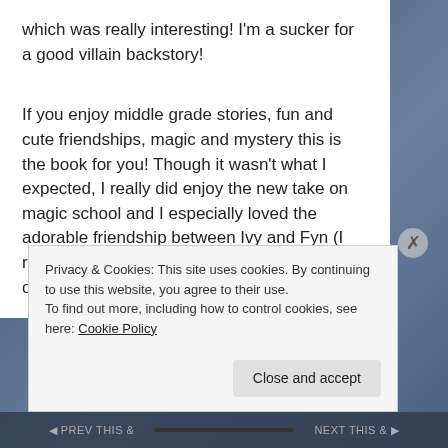which was really interesting! I'm a sucker for a good villain backstory!
If you enjoy middle grade stories, fun and cute friendships, magic and mystery this is the book for you! Though it wasn't what I expected, I really did enjoy the new take on magic school and I especially loved the adorable friendship between Ivy and Fyn (I really hope there's more cuteness in the next one!)!
Privacy & Cookies: This site uses cookies. By continuing to use this website, you agree to their use.
To find out more, including how to control cookies, see here: Cookie Policy
NEXT THIS &